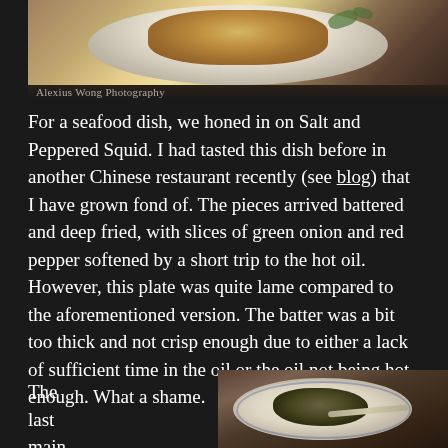[Figure (photo): Top portion of a food photography shot showing a plated dish, likely squid, on a white plate against a dark background. Watermark reads 'Alexius Wong Photography'.]
Alexius Wong Photography
For a seafood dish, we honed in on Salt and Peppered Squid.  I had tasted this dish before in another Chinese restaurant recently (see blog) that I have grown fond of.  The pieces arrived battered and deep fried, with slices of green onion and red pepper softened by a short trip to the hot oil.  However, this plate was quite lame compared to the aforementioned version.  The batter was a bit too thick and not crisp enough due to either a lack of sufficient time in the oil or the oil not being hot enough.  What a shame.
The last main dish was
[Figure (photo): Partial view of a food photography shot showing a plated dish on a decorative blue and white plate against a dark brown background.]